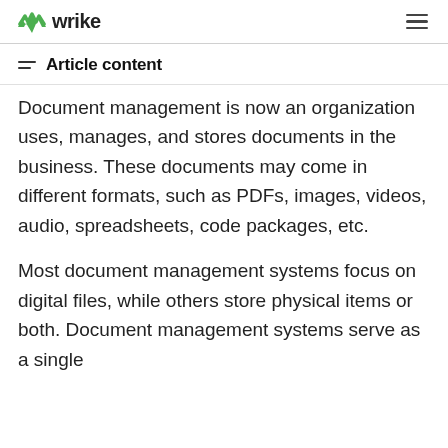wrike
Article content
Document management is now an organization uses, manages, and stores documents in the business. These documents may come in different formats, such as PDFs, images, videos, audio, spreadsheets, code packages, etc.
Most document management systems focus on digital files, while others store physical items or both. Document management systems serve as a single